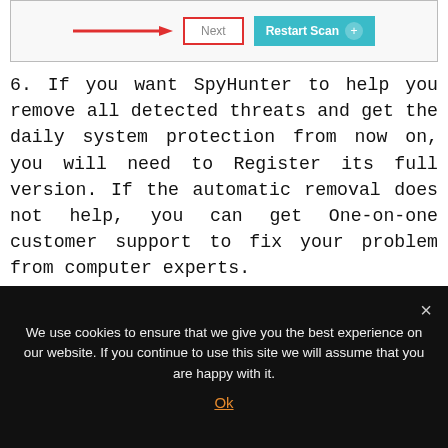[Figure (screenshot): SpyHunter scanner window showing Next button highlighted with red arrow and Restart Scan button in teal]
6. If you want SpyHunter to help you remove all detected threats and get the daily system protection from now on, you will need to Register its full version. If the automatic removal does not help, you can get One-on-one customer support to fix your problem from computer experts.
[Figure (screenshot): SpyHunter 5 application window showing 'Register for Full Version of SpyHunter' dialog with info icon and description text]
We use cookies to ensure that we give you the best experience on our website. If you continue to use this site we will assume that you are happy with it.
Ok